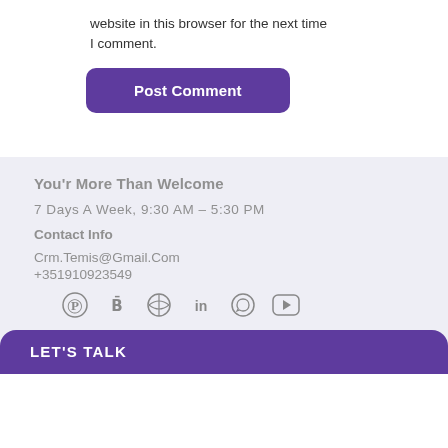website in this browser for the next time I comment.
Post Comment
You'r More Than Welcome
7 Days A Week, 9:30 AM – 5:30 PM
Contact Info
Crm.Temis@Gmail.Com
+351910923549
[Figure (infographic): Social media icons row: Pinterest, Behance, Dribbble, LinkedIn, WhatsApp, YouTube]
LET'S TALK